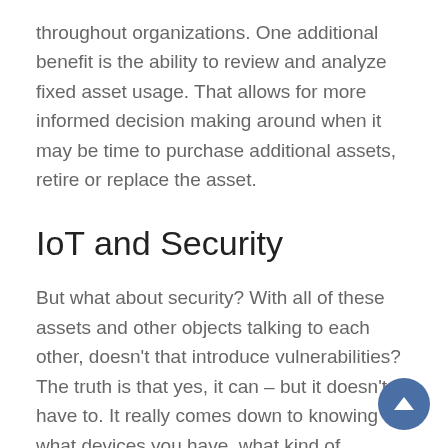throughout organizations. One additional benefit is the ability to review and analyze fixed asset usage. That allows for more informed decision making around when it may be time to purchase additional assets, retire or replace the asset.
IoT and Security
But what about security? With all of these assets and other objects talking to each other, doesn't that introduce vulnerabilities? The truth is that yes, it can – but it doesn't have to. It really comes down to knowing what devices you have, what kind of condition those items are in, and knowing who has access to them. The late Robert Stroud, former